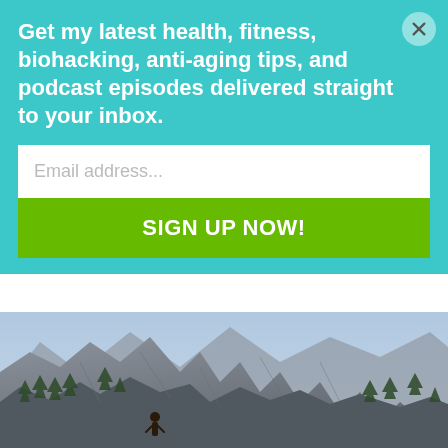Get my latest health, fitness, biohacking, anti-aging tips, and podcast episodes delivered straight to your inbox.
Email address...
SIGN UP NOW!
installed in my...
Read More
[Figure (photo): Mountain canyon landscape with rocky cliffs and pine trees, person visible at bottom]